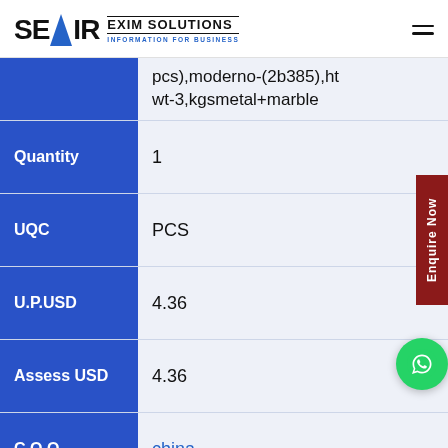SEAIR EXIM SOLUTIONS INFORMATION FOR BUSINESS
| Field | Value |
| --- | --- |
|  | pcs),moderno-(2b385),ht wt-3,kgsmetal+marble |
| Quantity | 1 |
| UQC | PCS |
| U.P.USD | 4.36 |
| Assess USD | 4.36 |
| COO | china |
| Duty |  |